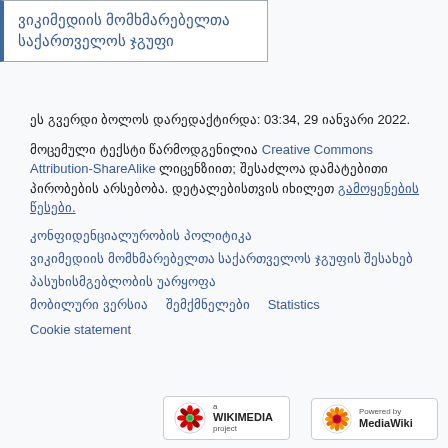ვიკიმედიის მომხმარებელთა საქართველოს ჯგუფი
ეს გვერდი ბოლოს დარედაქტირდა: 03:34, 29 იანვარი 2022.
მოცემული ტექსტი წარმოდგენილია Creative Commons Attribution-ShareAlike ლიცენზიით; შესაძლოა დამატებითი პირობების არსებობა. დეტალებისთვის იხილეთ გამოყენების წესები.
კონფიდენციალურობის პოლიტიკა
ვიკიმედიის მომხმარებელთა საქართველოს ჯგუფის შესახებ
პასუხისმგებლობის უარყოფა
მობილური ვერსია    შემქმნელები    Statistics
Cookie statement
[Figure (logo): Wikimedia project logo badge]
[Figure (logo): Powered by MediaWiki badge]